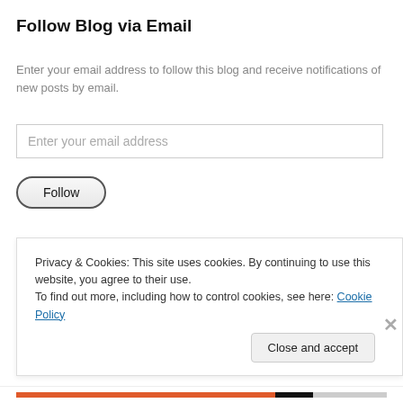Follow Blog via Email
Enter your email address to follow this blog and receive notifications of new posts by email.
Enter your email address
Follow
Join 5,669 other followers
Privacy & Cookies: This site uses cookies. By continuing to use this website, you agree to their use.
To find out more, including how to control cookies, see here: Cookie Policy
Close and accept